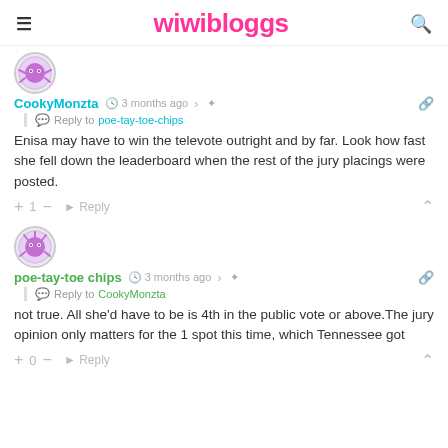wiwibloggs
[Figure (illustration): Purple monster avatar for CookyMonzta]
CookyMonzta  3 months ago  Reply to poe-tay-toe-chips
Enisa may have to win the televote outright and by far. Look how fast she fell down the leaderboard when the rest of the jury placings were posted.
+ 1 — Reply
[Figure (illustration): Purple monster avatar for poe-tay-toe chips]
poe-tay-toe chips  3 months ago  Reply to CookyMonzta
not true. All she'd have to be is 4th in the public vote or above.The jury opinion only matters for the 1 spot this time, which Tennessee got
+ 0 — Reply